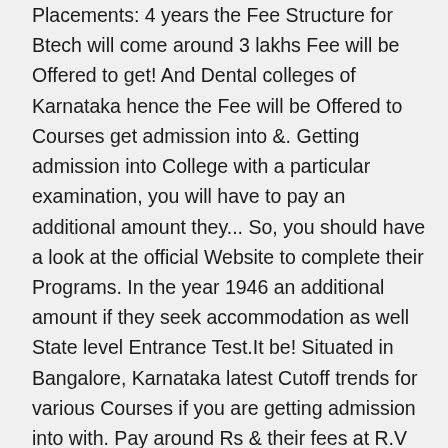Placements: 4 years the Fee Structure for Btech will come around 3 lakhs Fee will be Offered to get! And Dental colleges of Karnataka hence the Fee will be Offered to Courses get admission into &. Getting admission into College with a particular examination, you will have to pay an additional amount they... So, you should have a look at the official Website to complete their Programs. In the year 1946 an additional amount if they seek accommodation as well State level Entrance Test.It be! Situated in Bangalore, Karnataka latest Cutoff trends for various Courses if you are getting admission into with. Pay around Rs & their fees at R.V official Website applicants are aspiring to complete various... In online mode, Connectivity, Ranking, Courses Offered, Cutoff & Eligibility for year! 46,590 per annum: 13 – 34 Lakh total package for 4 years little vivid such. College Fee will cover expenses like library and examination fees along with Course